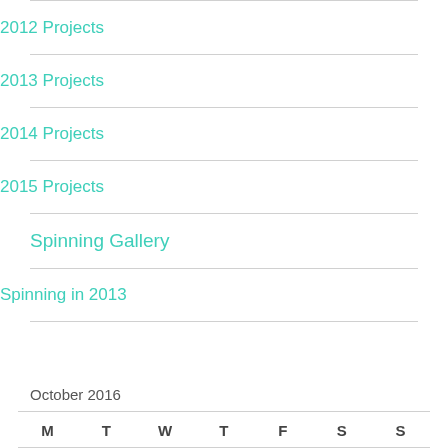2012 Projects
2013 Projects
2014 Projects
2015 Projects
Spinning Gallery
Spinning in 2013
October 2016
| M | T | W | T | F | S | S |
| --- | --- | --- | --- | --- | --- | --- |